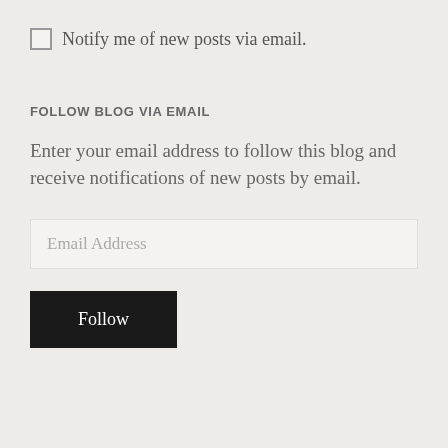Notify me of new posts via email.
FOLLOW BLOG VIA EMAIL
Enter your email address to follow this blog and receive notifications of new posts by email.
Email Address
Follow